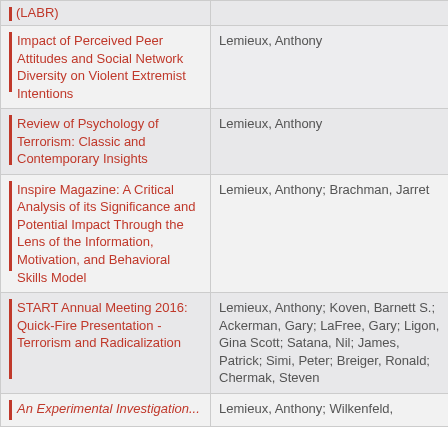| Title | Authors |
| --- | --- |
| (LABR) |  |
| Impact of Perceived Peer Attitudes and Social Network Diversity on Violent Extremist Intentions | Lemieux, Anthony |
| Review of Psychology of Terrorism: Classic and Contemporary Insights | Lemieux, Anthony |
| Inspire Magazine: A Critical Analysis of its Significance and Potential Impact Through the Lens of the Information, Motivation, and Behavioral Skills Model | Lemieux, Anthony; Brachman, Jarret |
| START Annual Meeting 2016: Quick-Fire Presentation - Terrorism and Radicalization | Lemieux, Anthony; Koven, Barnett S.; Ackerman, Gary; LaFree, Gary; Ligon, Gina Scott; Satana, Nil; James, Patrick; Simi, Peter; Breiger, Ronald; Chermak, Steven |
| An Experimental Investigation... | Lemieux, Anthony; Wilkenfeld, |